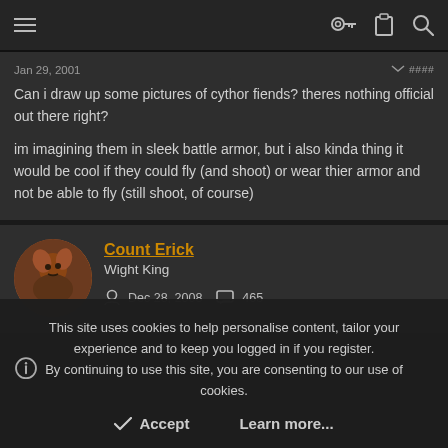Navigation bar with hamburger menu and icons
Can i draw up some pictures of cythor fiends? theres nothing official out there right?

im imagining them in sleek battle armor, but i also kinda thing it would be cool if they could fly (and shoot) or wear thier armor and not be able to fly (still shoot, of course)
Count Erick
Wight King
Dec 28, 2008  465
This site uses cookies to help personalise content, tailor your experience and to keep you logged in if you register.
By continuing to use this site, you are consenting to our use of cookies.
Accept  Learn more...